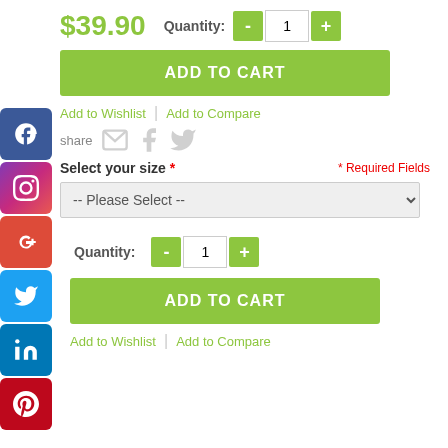$39.90  Quantity: - 1 +
ADD TO CART
Add to Wishlist | Add to Compare
share
Select your size * Required Fields
-- Please Select --
Quantity: - 1 +
ADD TO CART
Add to Wishlist | Add to Compare